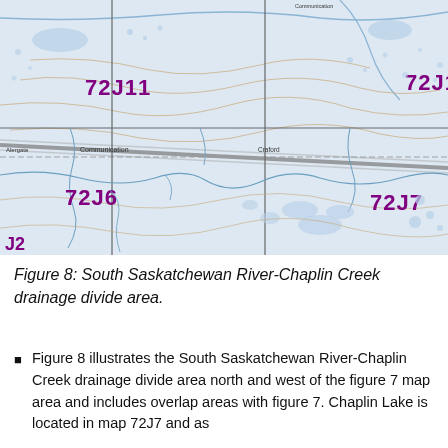[Figure (map): Topographic map showing South Saskatchewan River-Chaplin Creek drainage divide area with map grid sections labeled 72J11, 72J10, 72J9, 72J6, 72J7, 72J8. Features include rivers, lakes, roads, contour lines, and place names including Communication, Chaplin, Parkbeg, Craford, Alergate.]
Figure 8: South Saskatchewan River-Chaplin Creek drainage divide area.
Figure 8 illustrates the South Saskatchewan River-Chaplin Creek drainage divide area north and west of the figure 7 map area and includes overlap areas with figure 7. Chaplin Lake is located in map 72J7 and as